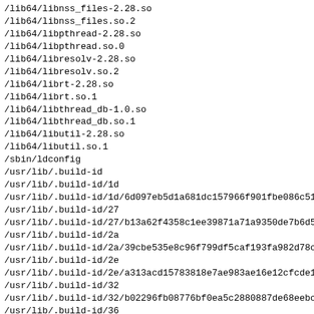/lib64/libnss_files-2.28.so
/lib64/libnss_files.so.2
/lib64/libpthread-2.28.so
/lib64/libpthread.so.0
/lib64/libresolv-2.28.so
/lib64/libresolv.so.2
/lib64/librt-2.28.so
/lib64/librt.so.1
/lib64/libthread_db-1.0.so
/lib64/libthread_db.so.1
/lib64/libutil-2.28.so
/lib64/libutil.so.1
/sbin/ldconfig
/usr/lib/.build-id
/usr/lib/.build-id/1d
/usr/lib/.build-id/1d/6d097eb5d1a681dc157966f901fbe086c51
/usr/lib/.build-id/27
/usr/lib/.build-id/27/b13a62f4358c1ee39871a71a9350de7b6d5
/usr/lib/.build-id/2a
/usr/lib/.build-id/2a/39cbe535e8c96f799df5caf193fa982d78c
/usr/lib/.build-id/2e
/usr/lib/.build-id/2e/a313acd15783818e7ae983ae16e12cfcde1
/usr/lib/.build-id/32
/usr/lib/.build-id/32/b02296fb08776bf0ea5c2880887de68eebc
/usr/lib/.build-id/36
/usr/lib/.build-id/36/0a70fe1cccbc8e281b8cbd0a0ed5e060830
/usr/lib/.build-id/3b
/usr/lib/.build-id/3b/916a89920e0dba5d0c800b4a16a39b9f0bc
/usr/lib/.build-id/62
/usr/lib/.build-id/62/709662f780e12d90449bd0b0dafd6f4e860